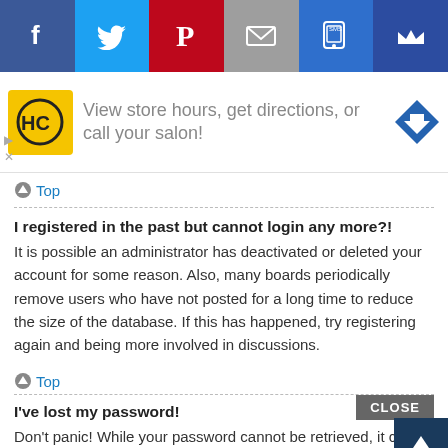[Figure (screenshot): Social media sharing bar with icons for Facebook, Twitter, Pinterest, Email, SMS/messaging, and a crown/loyalty icon]
[Figure (screenshot): Advertisement banner: HC logo (yellow square with HC in black circle), text 'View store hours, get directions, or call your salon!', blue diamond direction icon, with ad controls (play/close icons)]
Top
I registered in the past but cannot login any more?!
It is possible an administrator has deactivated or deleted your account for some reason. Also, many boards periodically remove users who have not posted for a long time to reduce the size of the database. If this has happened, try registering again and being more involved in discussions.
Top
I've lost my password!
Don't panic! While your password cannot be retrieved, it can easily be reset. Visit the login page and click I forgot my